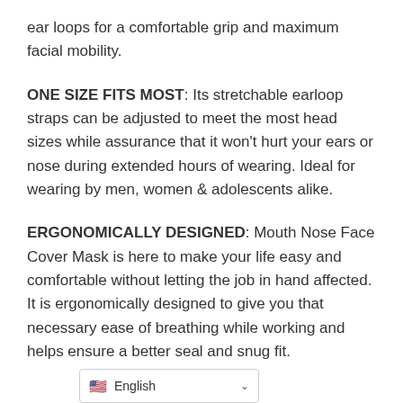ear loops for a comfortable grip and maximum facial mobility.
ONE SIZE FITS MOST: Its stretchable earloop straps can be adjusted to meet the most head sizes while assurance that it won't hurt your ears or nose during extended hours of wearing. Ideal for wearing by men, women & adolescents alike.
ERGONOMICALLY DESIGNED: Mouth Nose Face Cover Mask is here to make your life easy and comfortable without letting the job in hand affected. It is ergonomically designed to give you that necessary ease of breathing while working and helps ensure a better seal and snug fit.